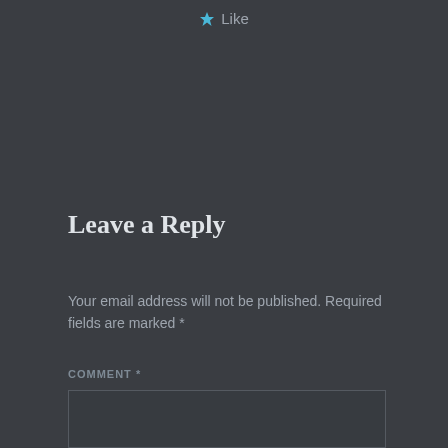[Figure (other): Blue star icon followed by 'Like' text centered at top of page]
Leave a Reply
Your email address will not be published. Required fields are marked *
COMMENT *
[Figure (other): Empty comment text input box with dark background and border]